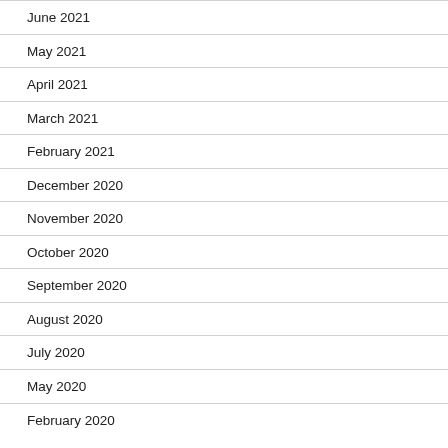June 2021
May 2021
April 2021
March 2021
February 2021
December 2020
November 2020
October 2020
September 2020
August 2020
July 2020
May 2020
February 2020